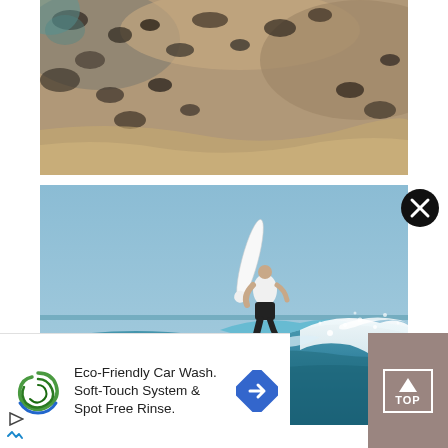[Figure (photo): Close-up photograph of rocky or textured surface resembling whale skin or weathered rock with organic patterns]
[Figure (photo): Action photo of a surfer performing an aerial maneuver on a large blue ocean wave, surfboard nearly vertical in the air]
[Figure (infographic): Advertisement banner for an Eco-Friendly Car Wash featuring a green spiral logo, text reading 'Eco-Friendly Car Wash. Soft-Touch System & Spot Free Rinse.' and a blue diamond-shaped navigation arrow icon]
[Figure (other): TOP navigation button with upward arrow icon inside a white border box on brownish-gray background]